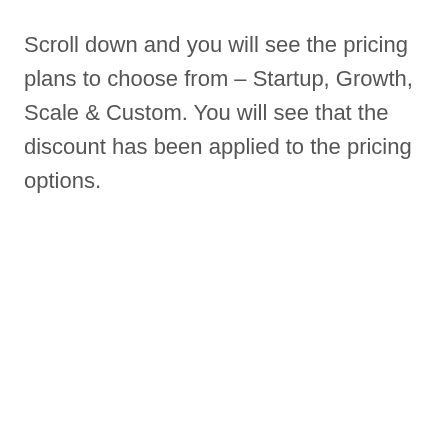Scroll down and you will see the pricing plans to choose from – Startup, Growth, Scale & Custom. You will see that the discount has been applied to the pricing options.